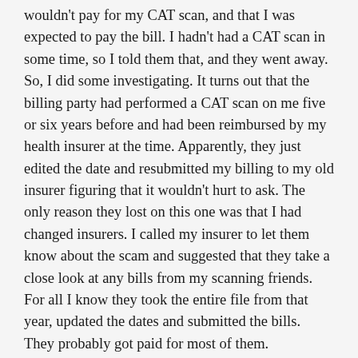wouldn't pay for my CAT scan, and that I was expected to pay the bill. I hadn't had a CAT scan in some time, so I told them that, and they went away. So, I did some investigating. It turns out that the billing party had performed a CAT scan on me five or six years before and had been reimbursed by my health insurer at the time. Apparently, they just edited the date and resubmitted my billing to my old insurer figuring that it wouldn't hurt to ask. The only reason they lost on this one was that I had changed insurers. I called my insurer to let them know about the scam and suggested that they take a close look at any bills from my scanning friends. For all I know they took the entire file from that year, updated the dates and submitted the bills. They probably got paid for most of them.
I asked the attorney, the originally of them answer. It...